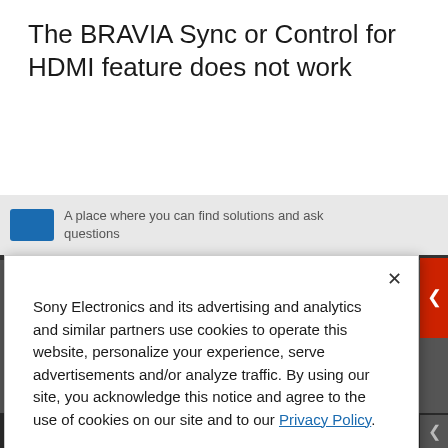The BRAVIA Sync or Control for HDMI feature does not work
A place where you can find solutions and ask questions
Sony Electronics and its advertising and analytics and similar partners use cookies to operate this website, personalize your experience, serve advertisements and/or analyze traffic. By using our site, you acknowledge this notice and agree to the use of cookies on our site and to our Privacy Policy.
Manage Cookies